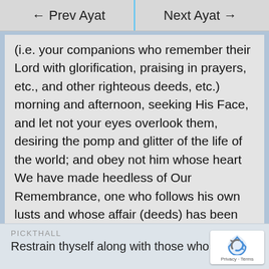← Prev Ayat | Next Ayat →
(i.e. your companions who remember their Lord with glorification, praising in prayers, etc., and other righteous deeds, etc.) morning and afternoon, seeking His Face, and let not your eyes overlook them, desiring the pomp and glitter of the life of the world; and obey not him whose heart We have made heedless of Our Remembrance, one who follows his own lusts and whose affair (deeds) has been lost.
PICKTHALL
Restrain thyself along with those who...